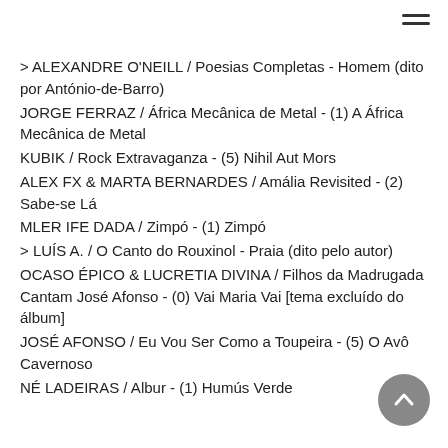> ALEXANDRE O'NEILL / Poesias Completas - Homem (dito por António-de-Barro)
JORGE FERRAZ / África Mecânica de Metal - (1) A África Mecânica de Metal
KUBIK / Rock Extravaganza - (5) Nihil Aut Mors
ALEX FX & MARTA BERNARDES / Amália Revisited - (2) Sabe-se Lá
MLER IFE DADA / Zimpó - (1) Zimpó
> LUÍS A. / O Canto do Rouxinol - Praia (dito pelo autor)
OCASO ÉPICO & LUCRETIA DIVINA / Filhos da Madrugada Cantam José Afonso - (0) Vai Maria Vai [tema excluído do álbum]
JOSÉ AFONSO / Eu Vou Ser Como a Toupeira - (5) O Avô Cavernoso
NÉ LADEIRAS / Albur - (1) Humús Verde